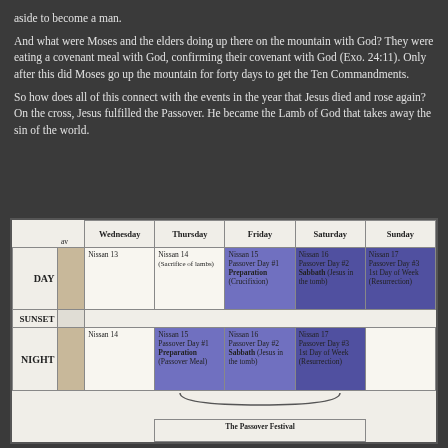aside to become a man.
And what were Moses and the elders doing up there on the mountain with God?  They were eating a covenant meal with God, confirming their covenant with God (Exo. 24:11).  Only after this did Moses go up the mountain for forty days to get the Ten Commandments.
So how does all of this connect with the events in the year that Jesus died and rose again?  On the cross, Jesus fulfilled the Passover.  He became the Lamb of God that takes away the sin of the world.
[Figure (table-as-image): Calendar table showing Passover week with days (Wednesday through Sunday), dates (Nissan 13-17), and day/night divisions. Highlights Passover Festival from Nissan 15-17.]